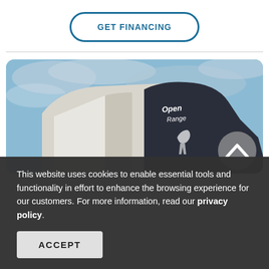GET FINANCING
[Figure (photo): Close-up photo of an RV fifth wheel trailer exterior, showing the front cap with 'Open Range' branding, silver and tan color scheme, shot from a low angle against a cloudy blue sky. A navigation arrow (chevron up) overlay is visible in the lower right of the image.]
This website uses cookies to enable essential tools and functionality in effort to enhance the browsing experience for our customers. For more information, read our privacy policy.
ACCEPT